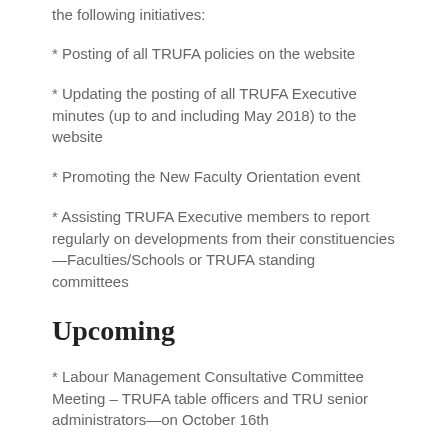the following initiatives:
* Posting of all TRUFA policies on the website
* Updating the posting of all TRUFA Executive minutes (up to and including May 2018) to the website
* Promoting the New Faculty Orientation event
* Assisting TRUFA Executive members to report regularly on developments from their constituencies—Faculties/Schools or TRUFA standing committees
Upcoming
* Labour Management Consultative Committee Meeting – TRUFA table officers and TRU senior administrators—on October 16th
* TRUFA meeting with department Chairs on October 16th